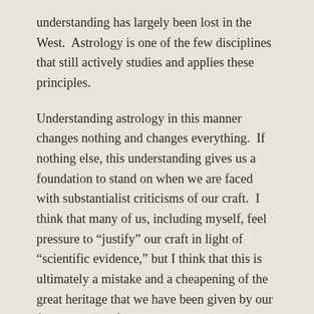understanding has largely been lost in the West. Astrology is one of the few disciplines that still actively studies and applies these principles.
Understanding astrology in this manner changes nothing and changes everything.  If nothing else, this understanding gives us a foundation to stand on when we are faced with substantialist criticisms of our craft.  I think that many of us, including myself, feel pressure to “justify” our craft in light of “scientific evidence,” but I think that this is ultimately a mistake and a cheapening of the great heritage that we have been given by our forerunners.  Of course, we need to use observation and research to refine our accuracy and our skills at application (which will be the subject of my next article), but we do not have to “justify” ourselves based